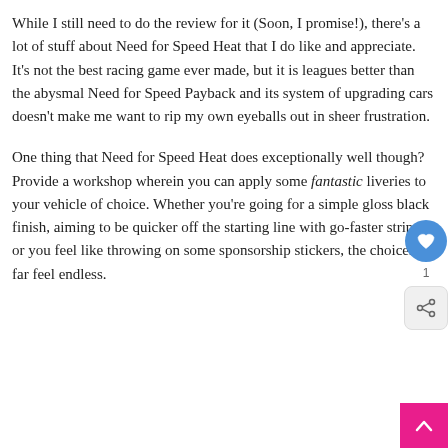While I still need to do the review for it (Soon, I promise!), there's a lot of stuff about Need for Speed Heat that I do like and appreciate. It's not the best racing game ever made, but it is leagues better than the abysmal Need for Speed Payback and its system of upgrading cars doesn't make me want to rip my own eyeballs out in sheer frustration.
One thing that Need for Speed Heat does exceptionally well though? Provide a workshop wherein you can apply some fantastic liveries to your vehicle of choice. Whether you're going for a simple gloss black finish, aiming to be quicker off the starting line with go-faster stripes or you feel like throwing on some sponsorship stickers, the choices so far feel endless.
[Figure (other): UI overlay elements: a blue circular heart/like button with count '1', a light grey share button with a share icon, and a pink scroll-to-top button with a chevron-up arrow in the bottom right corner.]